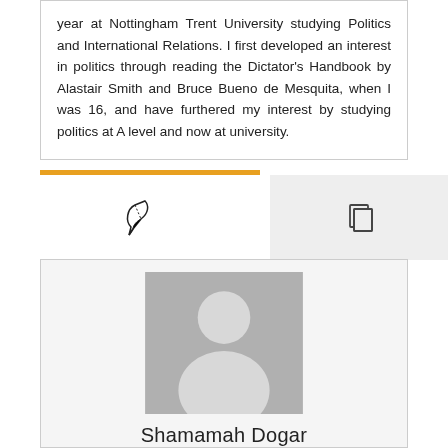year at Nottingham Trent University studying Politics and International Relations. I first developed an interest in politics through reading the Dictator's Handbook by Alastair Smith and Bruce Bueno de Mesquita, when I was 16, and have furthered my interest by studying politics at A level and now at university.
[Figure (infographic): Tab bar with orange underline on left tab showing a feather/pen icon, and a right tab with a copy/document icon on grey background]
[Figure (photo): Profile card with a generic grey placeholder avatar image above the name Shamamah Dogar]
Shamamah Dogar